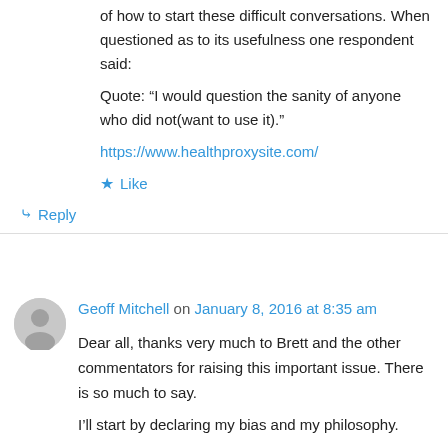of how to start these difficult conversations. When questioned as to its usefulness one respondent said:
Quote: “I would question the sanity of anyone who did not(want to use it).”
https://www.healthproxysite.com/
Like
Reply
Geoff Mitchell on January 8, 2016 at 8:35 am
Dear all, thanks very much to Brett and the other commentators for raising this important issue. There is so much to say.
I’ll start by declaring my bias and my philosophy.